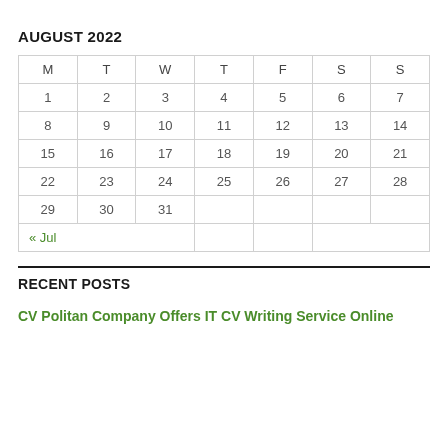AUGUST 2022
| M | T | W | T | F | S | S |
| --- | --- | --- | --- | --- | --- | --- |
| 1 | 2 | 3 | 4 | 5 | 6 | 7 |
| 8 | 9 | 10 | 11 | 12 | 13 | 14 |
| 15 | 16 | 17 | 18 | 19 | 20 | 21 |
| 22 | 23 | 24 | 25 | 26 | 27 | 28 |
| 29 | 30 | 31 |  |  |  |  |
| « Jul |  |  |  |  |  |  |
RECENT POSTS
CV Politan Company Offers IT CV Writing Service Online